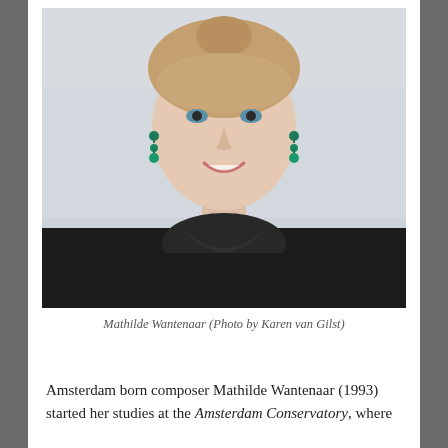[Figure (photo): Portrait photo of Mathilde Wantenaar, a young woman with light skin, hair pulled back, wearing green drop earrings and a black blouse with a Peter Pan collar, smiling against a light grey background.]
Mathilde Wantenaar (Photo by Karen van Gilst)
Amsterdam born composer Mathilde Wantenaar (1993) started her studies at the Amsterdam Conservatory, where